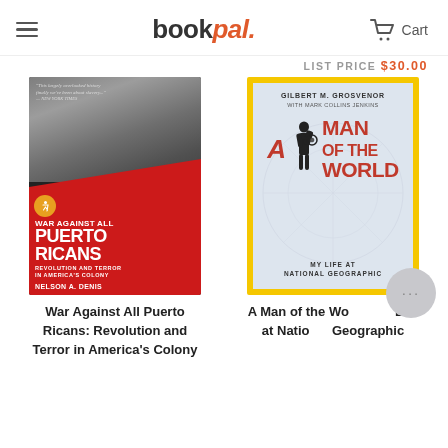bookpal — Cart
LIST PRICE $30.00
[Figure (photo): Book cover: War Against All Puerto Ricans: Revolution and Terror in America's Colony by Nelson A. Denis. Red and black cover with archival photo.]
[Figure (photo): Book cover: A Man of the World: My Life at National Geographic by Gilbert M. Grosvenor with Mark Collins Jenkins. Yellow border, red title text, silhouette figure.]
War Against All Puerto Ricans: Revolution and Terror in America's Colony
A Man of the World: My Life at National Geographic